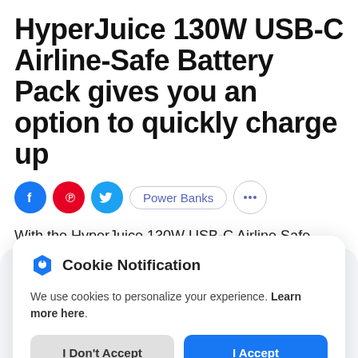HyperJuice 130W USB-C Airline-Safe Battery Pack gives you an option to quickly charge up
[Figure (other): Social sharing icons row: Facebook (blue circle), Pinterest (red circle), Twitter (cyan circle), Power Banks pill tag, more options circle button]
With the HyperJuice 130W USB-C Airline Safe
Cookie Notification
We use cookies to personalize your experience. Learn more here.
I Don't Accept | I Accept